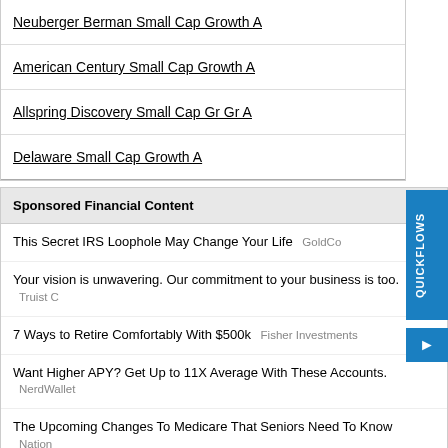Neuberger Berman Small Cap Growth A
American Century Small Cap Growth A
Allspring Discovery Small Cap Gr Gr A
Delaware Small Cap Growth A
Sponsored Financial Content
This Secret IRS Loophole May Change Your Life  GoldCo
Your vision is unwavering. Our commitment to your business is too.  Truist C
7 Ways to Retire Comfortably With $500k  Fisher Investments
Want Higher APY? Get Up to 11X Average With These Accounts.  NerdWallet
The Upcoming Changes To Medicare That Seniors Need To Know  Nation